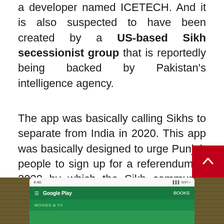a developer named ICETECH. And it is also suspected to have been created by a US-based Sikh secessionist group that is reportedly being backed by Pakistan's intelligence agency.
The app was basically calling Sikhs to separate from India in 2020. This app was basically designed to urge Punjab people to sign up for a referendum in 2020 by which the Sikh community would call for Khalistan, or a movement to separate Sikh-Majority states like Punjab from India.
[Figure (photo): Bottom portion of a smartphone screen showing Google Play Store interface, with a green navigation bar, partially visible on a wooden surface background]